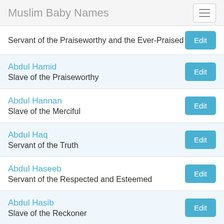Muslim Baby Names
Servant of the Praiseworthy and the Ever-Praised
Abdul Hamid
Slave of the Praiseworthy
Abdul Hannan
Slave of the Merciful
Abdul Haq
Servant of the Truth
Abdul Haseeb
Servant of the Respected and Esteemed
Abdul Hasib
Slave of the Reckoner
Abdul Hayy
Slave of the Living